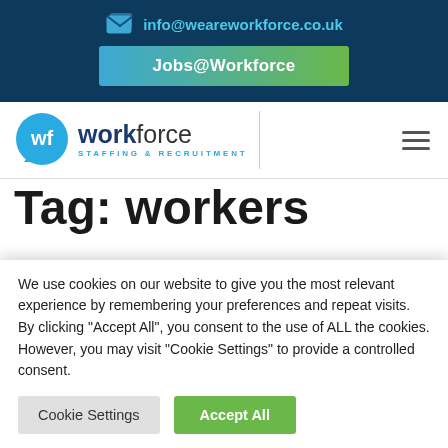info@weareworkforce.co.uk
Jobs@Workforce
[Figure (logo): Workforce Staffing & Recruitment logo with wf speech bubble icon]
Tag: workers
We use cookies on our website to give you the most relevant experience by remembering your preferences and repeat visits. By clicking "Accept All", you consent to the use of ALL the cookies. However, you may visit "Cookie Settings" to provide a controlled consent.
Cookie Settings | Accept All